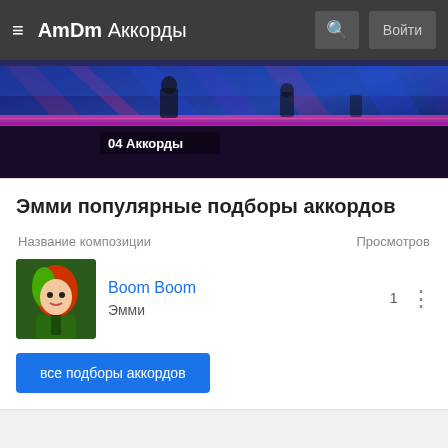AmDm Аккорды
[Figure (screenshot): Screenshot of a TV show or music performance with stage lighting, purple/blue/red tones, text overlay showing '04 Аккорды']
Эмми популярные подборы аккордов
| Название композиции | Просмотров |
| --- | --- |
| Boom Boom
Эмми | 1 |
все подборы аккордов
О проекте • Правила сайта • Реклама • Поддержка
ДОСТУПНО В Google Play
партнер сайта AliExpress